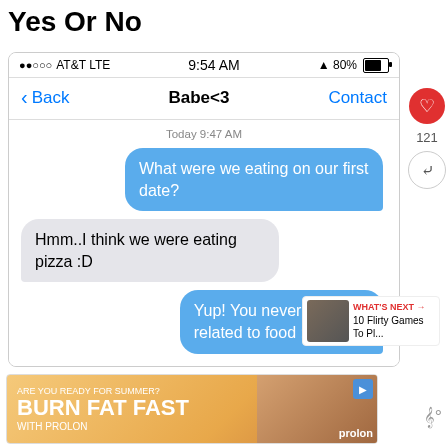Yes Or No
[Figure (screenshot): iPhone text message screenshot showing conversation with 'Babe<3'. Status bar shows AT&T LTE 9:54 AM 80% battery. Messages: 'What were we eating on our first date?' (blue bubble, outgoing), 'Hmm..I think we were eating pizza :D' (gray bubble, incoming), 'Yup! You never forget anything related to food :P' (blue bubble, outgoing). Sidebar shows heart button with 121 likes and share button. 'What's Next' overlay shows '10 Flirty Games To Pl...']
[Figure (photo): Advertisement banner: 'ARE YOU READY FOR SUMMER? BURN FAT FAST WITH PROLON' with woman in sunglasses]